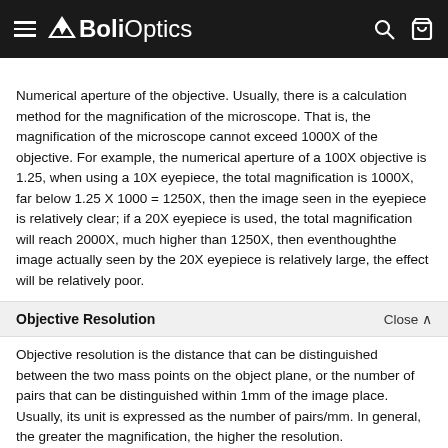BoliOptics
Numerical aperture of the objective. Usually, there is a calculation method for the magnification of the microscope. That is, the magnification of the microscope cannot exceed 1000X of the objective. For example, the numerical aperture of a 100X objective is 1.25, when using a 10X eyepiece, the total magnification is 1000X, far below 1.25 X 1000 = 1250X, then the image seen in the eyepiece is relatively clear; if a 20X eyepiece is used, the total magnification will reach 2000X, much higher than 1250X, then eventhoughthe image actually seen by the 20X eyepiece is relatively large, the effect will be relatively poor.
Objective Resolution
Objective resolution is the distance that can be distinguished between the two mass points on the object plane, or the number of pairs that can be distinguished within 1mm of the image place. Usually, its unit is expressed as the number of pairs/mm. In general, the greater the magnification, the higher the resolution.